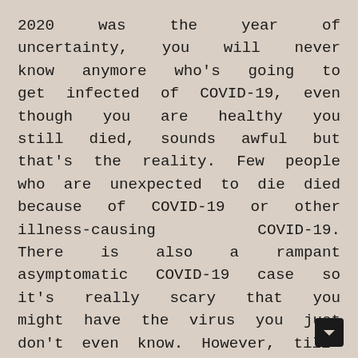2020 was the year of uncertainty, you will never know anymore who's going to get infected of COVID-19, even though you are healthy you still died, sounds awful but that's the reality. Few people who are unexpected to die died because of COVID-19 or other illness-causing      COVID-19. There is also a rampant asymptomatic COVID-19 case so it's really scary that you might have the virus you just don't even know. However, till the end of 2020. The